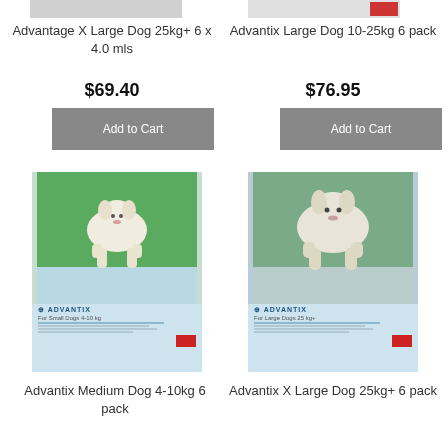[Figure (photo): Partial product image of Advantage X Large Dog flea treatment at top left]
Advantage X Large Dog 25kg+ 6 x 4.0 mls
$69.40
Add to Cart
[Figure (photo): Partial product image of Advantix Large Dog 10-25kg 6 pack at top right]
Advantix Large Dog 10-25kg 6 pack
$76.95
Add to Cart
[Figure (photo): Product box image of Advantix Medium Dog 4-10kg 6 pack showing a small white dog running on grass with product packaging]
[Figure (photo): Product box image of Advantix X Large Dog 25kg+ 6 pack showing a large dog running with product packaging]
Advantix Medium Dog 4-10kg 6 pack
Advantix X Large Dog 25kg+ 6 pack